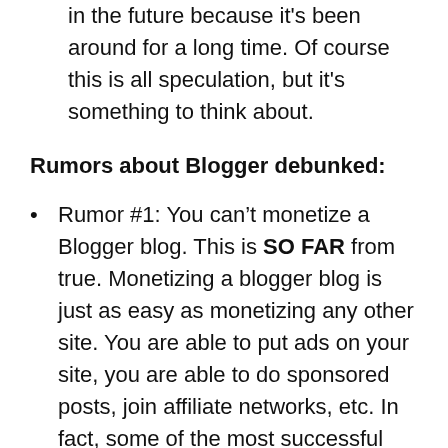in the future because it's been around for a long time. Of course this is all speculation, but it's something to think about.
Rumors about Blogger debunked:
Rumor #1: You can’t monetize a Blogger blog. This is SO FAR from true. Monetizing a blogger blog is just as easy as monetizing any other site. You are able to put ads on your site, you are able to do sponsored posts, join affiliate networks, etc. In fact, some of the most successful bloggers are on Blogger.
Rumor #2: Google can shut down your